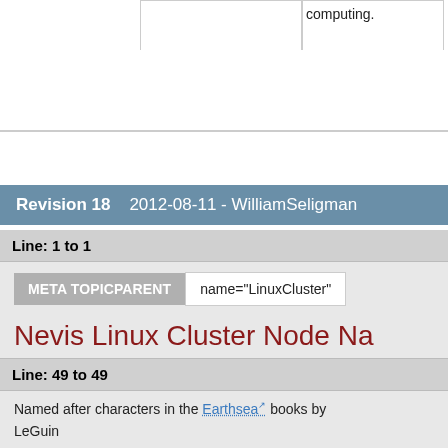|  |  |  | computing. |
Revision 18   2012-08-11 - WilliamSeligman
Line: 1 to 1
META TOPICPARENT   name="LinuxCluster"
Nevis Linux Cluster Node Na
Line: 49 to 49
Named after characters in the Earthsea books by LeGuin
| Name | Function | CPU | Memory | Disk |
| --- | --- | --- | --- | --- |
| tehanu | VERITAS workgroup | Dual 2.27 | 12 GB | 13 TB |